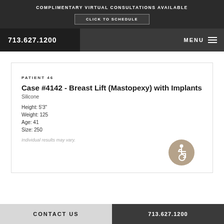COMPLIMENTARY VIRTUAL CONSULTATIONS AVAILABLE
CLICK TO SCHEDULE
713.627.1200
MENU
PATIENT 46
Case #4142 - Breast Lift (Mastopexy) with Implants
Silicone
Height: 5'3"
Weight: 125
Age: 41
Size: 250
[Figure (illustration): Accessibility wheelchair icon in a tan/beige circle]
Individual results may vary.
CONTACT US   713.627.1200